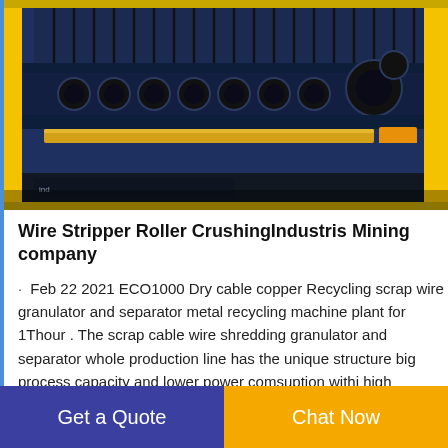[Figure (photo): Close-up photograph of a wire stripper roller crushing machine showing blue metal frame with multiple cylindrical rollers and yellow accents, industrial equipment for cable recycling.]
Wire Stripper Roller CrushingIndustris Mining company
Feb 22 2021 ECO1000 Dry cable copper Recycling scrap wire granulator and separator metal recycling machine plant for 1Thour . The scrap cable wire shredding granulator and separator whole production line has the unique structure big process capacity and lower power comsuption withi high